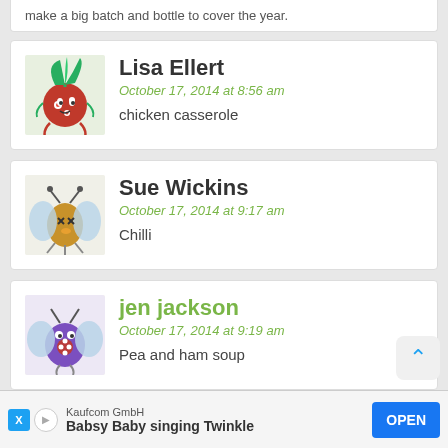make a big batch and bottle to cover the year.
Lisa Ellert
October 17, 2014 at 8:56 am
chicken casserole
Sue Wickins
October 17, 2014 at 9:17 am
Chilli
jen jackson
October 17, 2014 at 9:19 am
Pea and ham soup